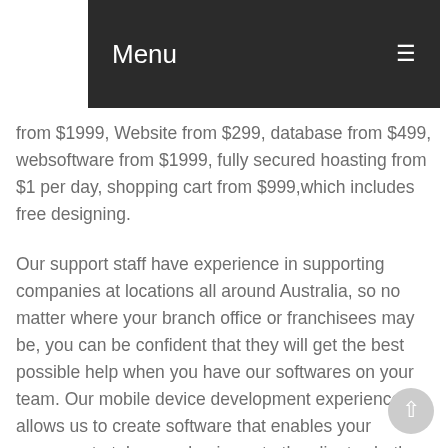Menu
from $1999, Website from $299, database from $499, websoftware from $1999, fully secured hoasting from $1 per day, shopping cart from $999,which includes free designing.
Our support staff have experience in supporting companies at locations all around Australia, so no matter where your branch office or franchisees may be, you can be confident that they will get the best possible help when you have our softwares on your team. Our mobile device development experience allows us to create software that enables your company to take your business to the client; whether that be at your site, their home, business, or even kitchen table. And whether they are making an order,